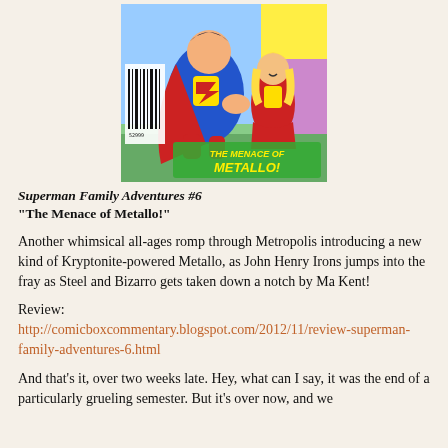[Figure (illustration): Comic book cover of Superman Family Adventures #6 'The Menace of Metallo!' showing Superman and Supergirl in an action scene with colorful cartoon art style and barcode visible on the left side.]
Superman Family Adventures #6
"The Menace of Metallo!"
Another whimsical all-ages romp through Metropolis introducing a new kind of Kryptonite-powered Metallo, as John Henry Irons jumps into the fray as Steel and Bizarro gets taken down a notch by Ma Kent!
Review:
http://comicboxcommentary.blogspot.com/2012/11/review-superman-family-adventures-6.html
And that's it, over two weeks late. Hey, what can I say, it was the end of a particularly grueling semester. But it's over now, and we